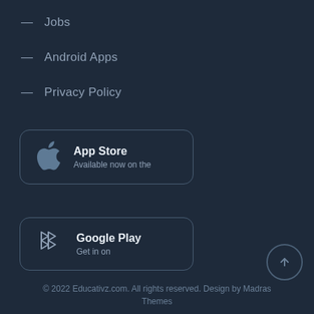— Jobs
— Android Apps
— Privacy Policy
[Figure (illustration): App Store button with Apple logo icon, bold title 'App Store' and subtitle 'Available now on the', inside a rounded rectangle border]
[Figure (illustration): Google Play button with play triangle icon, bold title 'Google Play' and subtitle 'Get in on', inside a rounded rectangle border]
© 2022 Educativz.com. All rights reserved. Design by Madras Themes